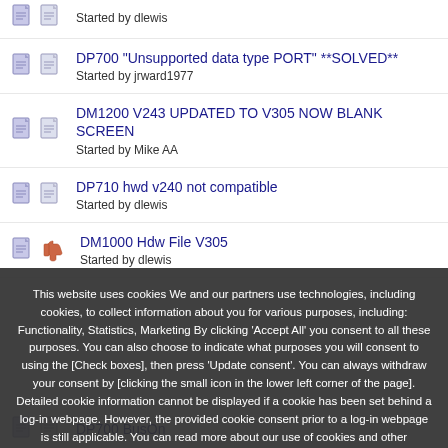Started by dlewis
DP700 "Unsupported data type PORT" **SOLVED**
Started by jrward1977
DM1200 V243 UPDATED TO V305 NOW BLANK SCREEN
Started by Mike AA
DP710 hwd v240 not compatible
Started by dlewis
DM1000 Hdw File V305
Started by dlewis
This website uses cookies We and our partners use technologies, including cookies, to collect information about you for various purposes, including: Functionality, Statistics, Marketing By clicking 'Accept All' you consent to all these purposes. You can also choose to indicate what purposes you will consent to using the [Check boxes], then press 'Update consent'. You can always withdraw your consent by [clicking the small icon in the lower left corner of the page]. Detailed cookie information cannot be displayed if a cookie has been set behind a log-in webpage. However, the provided cookie consent prior to a log-in webpage is still applicable. You can read more about our use of cookies and other technologies, as well as our collection and processing of personal data by clicking on the link.
DP700 BusOn